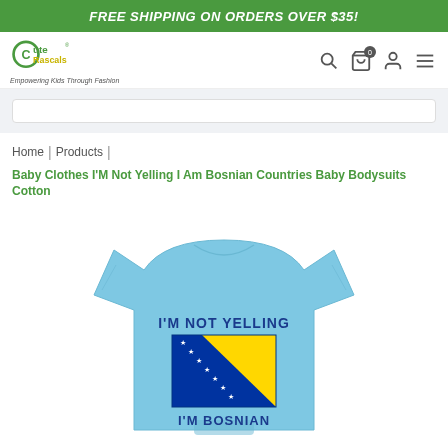FREE SHIPPING ON ORDERS OVER $35!
[Figure (logo): Cute Rascals logo with text 'Empowering Kids Through Fashion']
Home | Products | Baby Clothes I'M Not Yelling I Am Bosnian Countries Baby Bodysuits Cotton
[Figure (photo): Light blue baby bodysuit with 'I'M NOT YELLING I'M BOSNIAN' text and Bosnian flag printed on it]